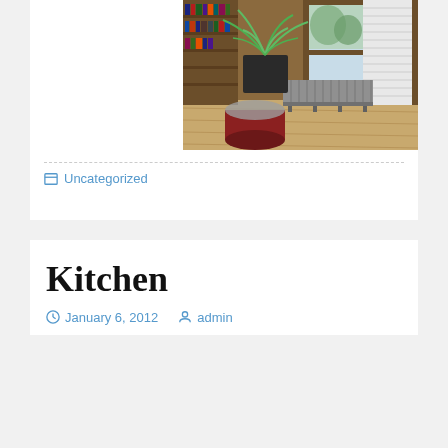[Figure (photo): Interior room photo showing a window with white blinds, bookshelves on the left with books and plants, a spider plant in a dark pot, a radiator/baseboard heater beneath the window, a red bongo drum, and hardwood floors.]
Uncategorized
Kitchen
January 6, 2012   admin